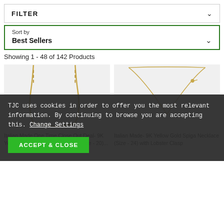FILTER
Sort by
Best Sellers
Showing 1 - 48 of 142 Products
[Figure (screenshot): Product image of Italian Made One Time Close Out Deal- 9K Yellow Gold Paperclip Necklace (Size - 20)]
[Figure (screenshot): Product image of Italian Made- 9K Yellow Gold Spiga Necklace (Size - 24) with Lobster Clasp]
TJC uses cookies in order to offer you the most relevant information. By continuing to browse you are accepting this. Change Settings
ACCEPT & CLOSE
Italian Made One Time Close Out Deal- 9K Yellow Gold Paperclip Necklace (Size - 20)...
Italian Made- 9K Yellow Gold Spiga Necklace (Size - 24) with Lobster Clasp